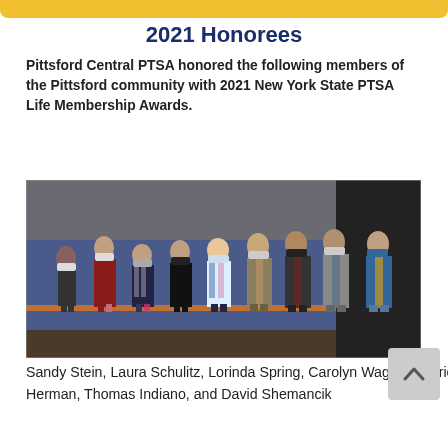2021 Honorees
Pittsford Central PTSA honored the following members of the Pittsford community with 2021 New York State PTSA Life Membership Awards.
[Figure (photo): Group photo of nine honorees wearing masks, standing in a row on a stage with blue walls.]
Sandy Stein, Laura Schulitz, Lorinda Spring, Carolyn Wagner, Patricia Vaughan-Brogan, Roger DeBell, Gregg Dougherty-Herman, Thomas Indiano, and David Shemancik
Beth Miller (not in photo)